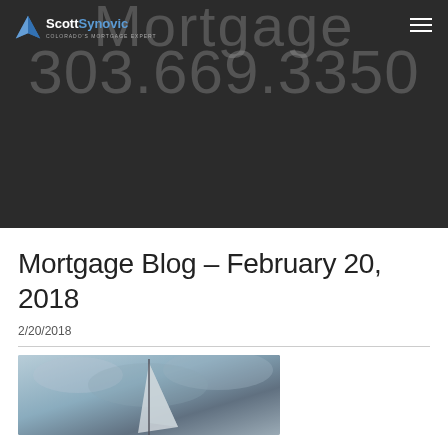[Figure (screenshot): Dark hero banner with faded text showing 'Mortgage' and phone number '303.669.3350', Scott Synovic logo top-left, hamburger menu top-right]
Mortgage Blog - February 20, 2018
2/20/2018
[Figure (photo): Partial photo of a sailboat mast against a dramatic cloudy sky, tinted blue-grey]